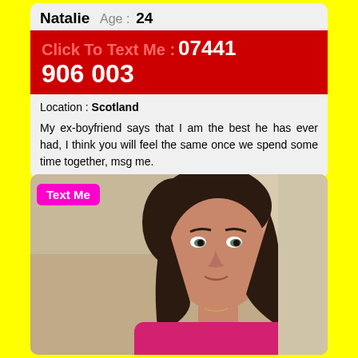Natalie  Age : 24
Click To Text Me : 07441 906 003
Location : Scotland
My ex-boyfriend says that I am the best he has ever had, I think you will feel the same once we spend some time together, msg me.
[Figure (photo): Photo of a woman with dark hair pulled back, wearing a pink top, lying on a light-colored sofa, looking at camera. A pink 'Text Me' button overlay appears in the top-left corner of the image.]